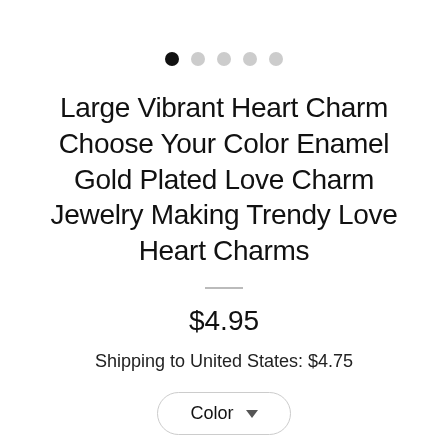[Figure (other): Five pagination dots, first dot filled black, remaining four dots light gray]
Large Vibrant Heart Charm Choose Your Color Enamel Gold Plated Love Charm Jewelry Making Trendy Love Heart Charms
$4.95
Shipping to United States: $4.75
Color ▾